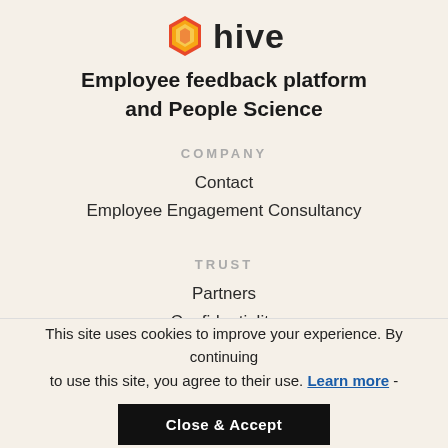[Figure (logo): Hive logo: orange/red/yellow hexagon icon with the word 'hive' in dark text]
Employee feedback platform and People Science
COMPANY
Contact
Employee Engagement Consultancy
TRUST
Partners
Confidentiality
Legal
This site uses cookies to improve your experience. By continuing to use this site, you agree to their use. Learn more -